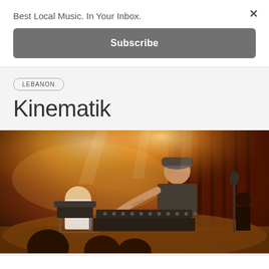Best Local Music. In Your Inbox.
Subscribe
LEBANON
Kinematik
[Figure (photo): Concert photo showing performers on stage with warm golden/orange stage lighting, synthesizers and electronic music equipment on stage, audience visible in foreground, atmospheric haze from stage lights]